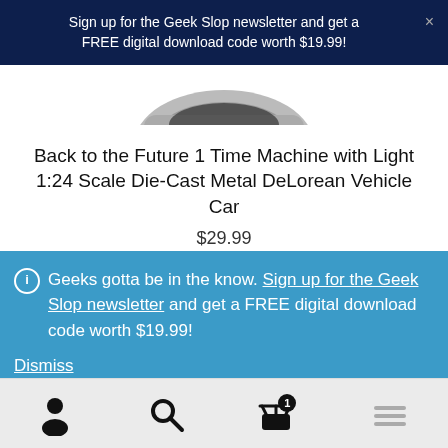Sign up for the Geek Slop newsletter and get a FREE digital download code worth $19.99!
[Figure (photo): Partial top view of a die-cast toy car (DeLorean), white background]
Back to the Future 1 Time Machine with Light 1:24 Scale Die-Cast Metal DeLorean Vehicle Car
$29.99
Geeks gotta be in the know. Sign up for the Geek Slop newsletter and get a FREE digital download code worth $19.99!
Dismiss